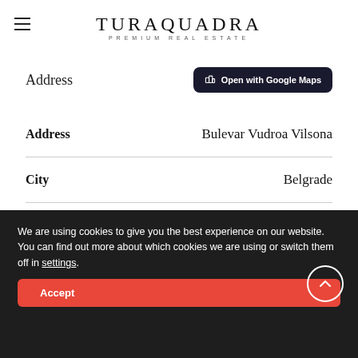[Figure (logo): TuraQuadra Premium Real Estate logo with hamburger menu icon]
Address
| Field | Value |
| --- | --- |
| Address | Bulevar Vudroa Vilsona |
| City | Belgrade |
| Zip/Postal Code | 11000 |
We are using cookies to give you the best experience on our website.
You can find out more about which cookies we are using or switch them off in settings.
Accept